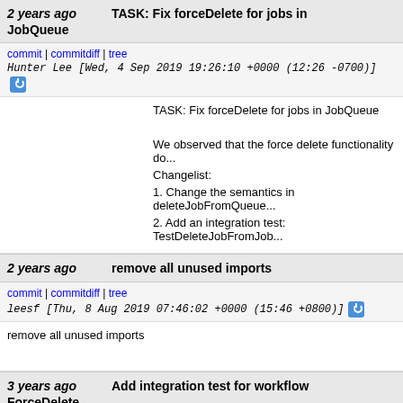2 years ago JobQueue — TASK: Fix forceDelete for jobs in JobQueue
commit | commitdiff | tree — Hunter Lee [Wed, 4 Sep 2019 19:26:10 +0000 (12:26 -0700)]
TASK: Fix forceDelete for jobs in JobQueue

We observed that the force delete functionality do...
Changelist:
1. Change the semantics in deleteJobFromQueue...
2. Add an integration test: TestDeleteJobFromJob...
2 years ago — remove all unused imports
commit | commitdiff | tree — leesf [Thu, 8 Aug 2019 07:46:02 +0000 (15:46 +0800)]
remove all unused imports
3 years ago ForceDelete — Add integration test for workflow ForceDelete
commit | commitdiff | tree — Ali Reza Zamani Zadeh Najari [Fri, 30 Aug 2019 16:56:39 +0000 (09:56 -0700)]
Add integration test for workflow ForceDelete

This commit adds integration tests for ForceDelete...